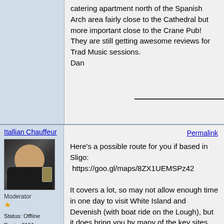catering apartment north of the Spanish Arch area fairly close to the Cathedral but more important close to the Crane Pub! They are still getting awesome reviews for Trad Music sessions.
Dan
Itallian Chauffeur
[Figure (photo): Avatar photo of forum user Itallian Chauffeur, showing a man in dark clothing sitting at a table with a drink]
Moderator
★
Status: Offline
Posts: 2151
Date: 10:37 PM, 02/24/19
Permalink
Here's a possible route for you if based in Sligo:  https://goo.gl/maps/8ZX1UEMSPz42

It covers a lot, so may not allow enough time in one day to visit White Island and Devenish (with boat ride on the Lough), but it does bring you by many of the key sites.